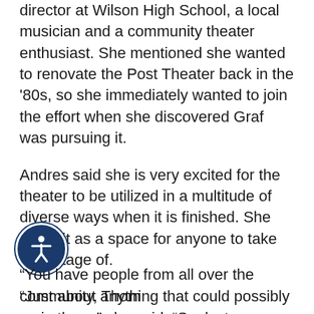director at Wilson High School, a local musician and a community theater enthusiast. She mentioned she wanted to renovate the Post Theater back in the '80s, so she immediately wanted to join the effort when she discovered Graf was pursuing it.
Andres said she is very excited for the theater to be utilized in a multitude of diverse ways when it is finished. She views it as a space for anyone to take advantage of.
“Just about anything that could possibly go in there,” she said. “So, lectures, movies, dance recitals, classical recitals, jazz groups, rock bands, musical theater, dramatic theater.”
Teal even has thoughts about who could take advantage of the theater when completed.
“You have people from all over the community, Thom